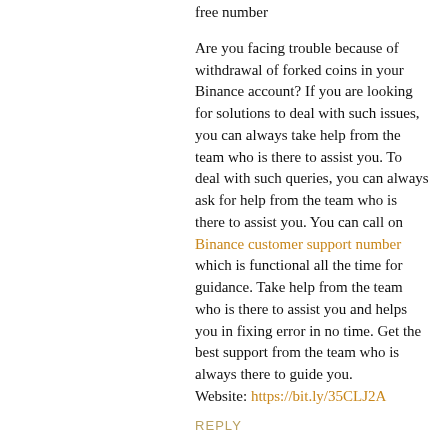free number
Are you facing trouble because of withdrawal of forked coins in your Binance account? If you are looking for solutions to deal with such issues, you can always take help from the team who is there to assist you. To deal with such queries, you can always ask for help from the team who is there to assist you. You can call on Binance customer support number which is functional all the time for guidance. Take help from the team who is there to assist you and helps you in fixing error in no time. Get the best support from the team who is always there to guide you.
Website: https://bit.ly/35CLJ2A
REPLY
Adhuntt  December 2, 2019 at 2:58 AM
Great blog thanks for sharing Leaders in the branding business – Adhuntt Media is now creating a buzz among marketing circles in Chennai. Global standard content creation, SEO and Web Development are the pillars of our